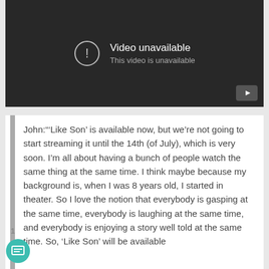[Figure (screenshot): YouTube-style video player showing 'Video unavailable' error message with exclamation icon and YouTube button in bottom right corner]
John:"'Like Son' is available now, but we're not going to start streaming it until the 14th (of July), which is very soon. I'm all about having a bunch of people watch the same thing at the same time. I think maybe because my background is, when I was 8 years old, I started in theater. So I love the notion that everybody is gasping at the same time, everybody is laughing at the same time, and everybody is enjoying a story well told at the same time. So, 'Like Son' will be available